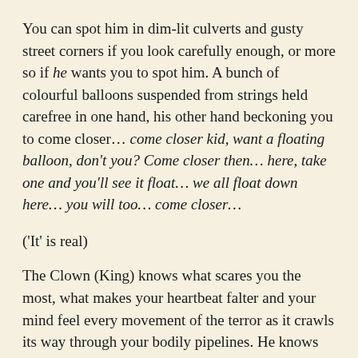You can spot him in dim-lit culverts and gusty street corners if you look carefully enough, or more so if he wants you to spot him. A bunch of colourful balloons suspended from strings held carefree in one hand, his other hand beckoning you to come closer… come closer kid, want a floating balloon, don't you? Come closer then… here, take one and you'll see it float… we all float down here… you will too… come closer…
('It' is real)
The Clown (King) knows what scares you the most, what makes your heartbeat falter and your mind feel every movement of the terror as it crawls its way through your bodily pipelines. He knows best and isn't afraid to use this knowing. Not one bit, no. Which brings me to the one most pertinent statement that I